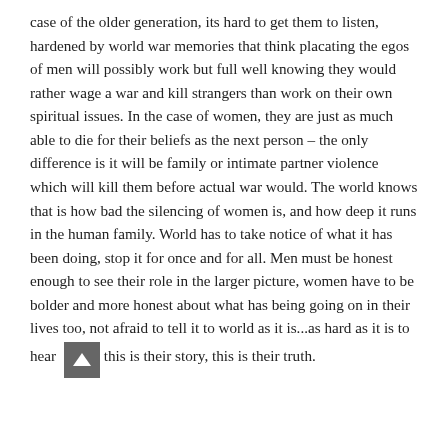case of the older generation, its hard to get them to listen, hardened by world war memories that think placating the egos of men will possibly work but full well knowing they would rather wage a war and kill strangers than work on their own spiritual issues. In the case of women, they are just as much able to die for their beliefs as the next person – the only difference is it will be family or intimate partner violence which will kill them before actual war would. The world knows that is how bad the silencing of women is, and how deep it runs in the human family. World has to take notice of what it has been doing, stop it for once and for all. Men must be honest enough to see their role in the larger picture, women have to be bolder and more honest about what has being going on in their lives too, not afraid to tell it to world as it is...as hard as it is to hear this is their story, this is their truth.